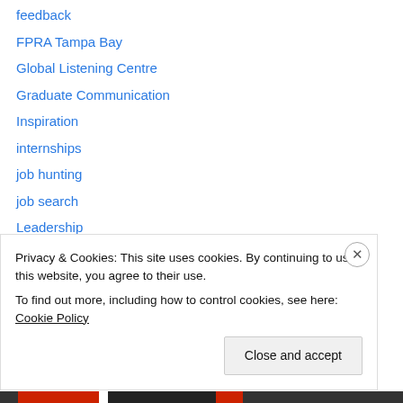feedback
FPRA Tampa Bay
Global Listening Centre
Graduate Communication
Inspiration
internships
job hunting
job search
Leadership
liberal arts education
mentoring
networking
overload
Pizza
Privacy & Cookies: This site uses cookies. By continuing to use this website, you agree to their use. To find out more, including how to control cookies, see here: Cookie Policy
Close and accept